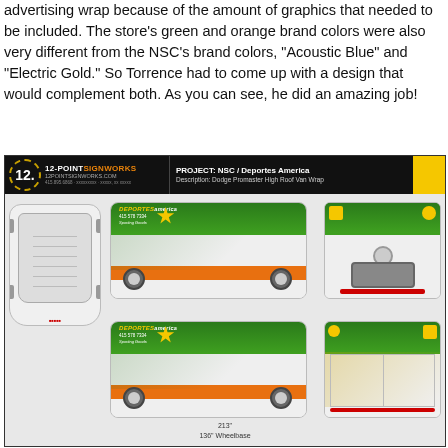advertising wrap because of the amount of graphics that needed to be included. The store's green and orange brand colors were also very different from the NSC's brand colors, "Acoustic Blue" and "Electric Gold." So Torrence had to come up with a design that would complement both. As you can see, he did an amazing job!
[Figure (illustration): 12-Point SignWorks van wrap design proof for NSC / Deportes America project. Shows a Dodge Promaster High Roof Van Wrap from multiple angles: top view, side views (both sides), and front view. The van features green and orange brand colors with Deportes America branding, soccer players, and sports goods imagery. Project header shows 12-Point SignWorks logo and project details. Dimensions noted: 213" length, 136" wheelbase. Fine print legal/terms text at bottom.]